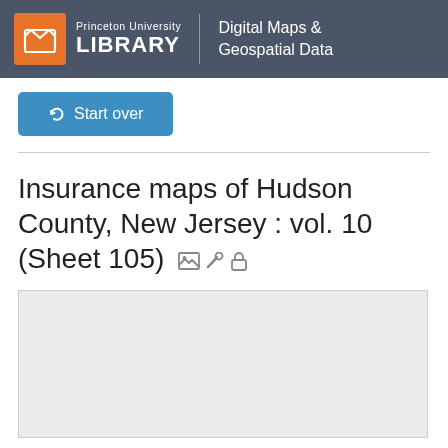Princeton University LIBRARY | Digital Maps & Geospatial Data
Start over
Insurance maps of Hudson County, New Jersey : vol. 10 (Sheet 105)
[Figure (other): Gray preview/loading box for map image]